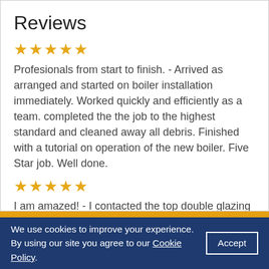Reviews
★★★★★
Profesionals from start to finish. - Arrived as arranged and started on boiler installation immediately. Worked quickly and efficiently as a team. completed the the job to the highest standard and cleaned away all debris. Finished with a tutorial on operation of the new boiler. Five Star job. Well done.
★★★★★
I am amazed! - I contacted the top double glazing companies and was very disappointed with their response or lack of it. Their professionalism was
We use cookies to improve your experience. By using our site you agree to our Cookie Policy. Accept